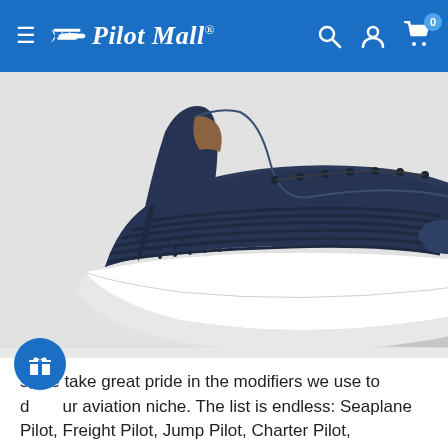Pilot Mall .com — navigation bar with hamburger menu, search, account, and cart icons
[Figure (photo): Close-up photo of a navy blue suede lace-up sneaker with white rubber sole, angled view showing the toe and side panel with quilted striped detailing and perforations.]
s, we take great pride in the modifiers we use to d ur aviation niche. The list is endless: Seaplane Pilot, Freight Pilot, Jump Pilot, Charter Pilot, Helicopter